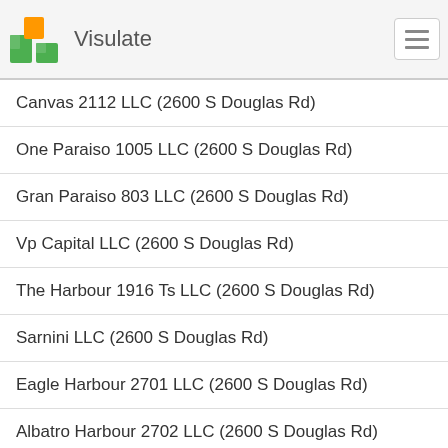Visulate
Canvas 2112 LLC (2600 S Douglas Rd)
One Paraiso 1005 LLC (2600 S Douglas Rd)
Gran Paraiso 803 LLC (2600 S Douglas Rd)
Vp Capital LLC (2600 S Douglas Rd)
The Harbour 1916 Ts LLC (2600 S Douglas Rd)
Sarnini LLC (2600 S Douglas Rd)
Eagle Harbour 2701 LLC (2600 S Douglas Rd)
Albatro Harbour 2702 LLC (2600 S Douglas Rd)
The Harbour 2420 LLC (2600 S Douglas Rd)
Firm Homes, LLC (2600 S Douglas Rd)